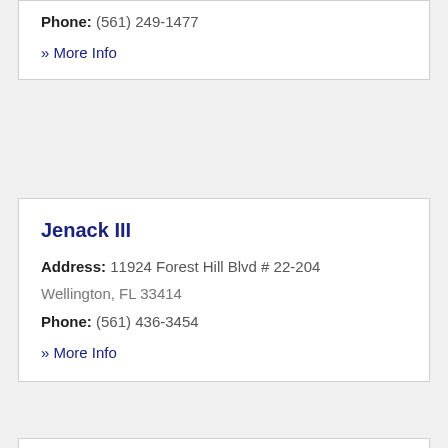Phone: (561) 249-1477
» More Info
Jenack III
Address: 11924 Forest Hill Blvd # 22-204 Wellington, FL 33414
Phone: (561) 436-3454
» More Info
Jenna Currie Realtor
Address: 2610 Village Walk Cir Wellington, FL 33414
Phone: (561) 758-8875
» More Info